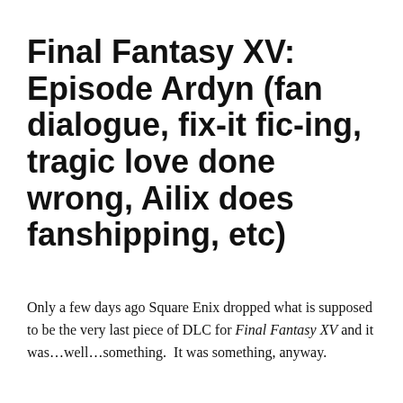Final Fantasy XV: Episode Ardyn (fan dialogue, fix-it fic-ing, tragic love done wrong, Ailix does fanshipping, etc)
Only a few days ago Square Enix dropped what is supposed to be the very last piece of DLC for Final Fantasy XV and it was…well…something.  It was something, anyway.